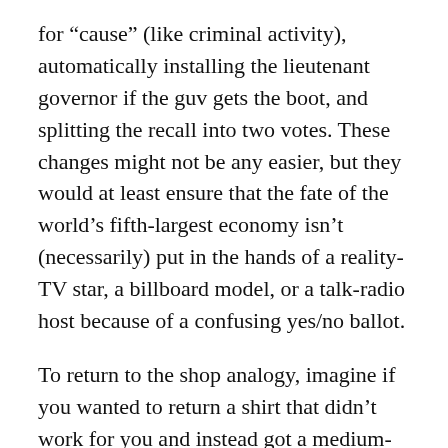for “cause” (like criminal activity), automatically installing the lieutenant governor if the guv gets the boot, and splitting the recall into two votes. These changes might not be any easier, but they would at least ensure that the fate of the world’s fifth-largest economy isn’t (necessarily) put in the hands of a reality-TV star, a billboard model, or a talk-radio host because of a confusing yes/no ballot.
To return to the shop analogy, imagine if you wanted to return a shirt that didn’t work for you and instead got a medium-size Bengal tiger. You’d probably stop shopping there. That’s no way to run a business. Now, as you put the old shirt back in